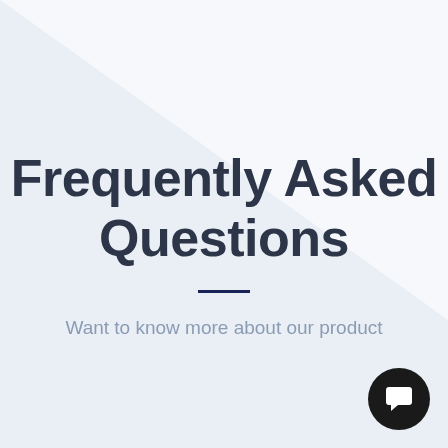[Figure (illustration): Light blue/grey background with a large white diagonal triangle shape in the upper-left portion of the page]
Frequently Asked Questions
Want to know more about our product
[Figure (logo): Dark circular chat/message icon button in the bottom-right corner]